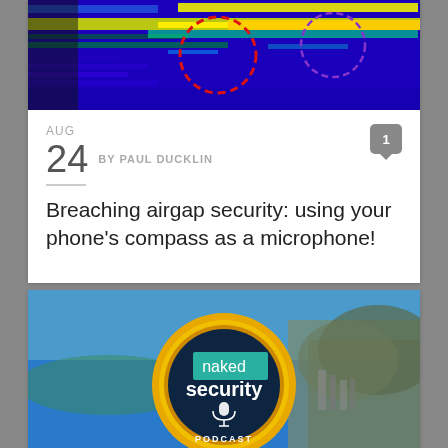[Figure (photo): Heatmap visualization with colored frequency spectrum bands, showing blue, green, yellow and red zones with red dashed circle and purple dashed circle annotations]
AUG
24  BY PAUL DUCKLIN
Breaching airgap security: using your phone's compass as a microphone!
[Figure (photo): Naked Security podcast logo — circular badge with yellow/gold ring, dark blue center, 'naked security' text with teal accent panel and microphone icon, PODCAST label, set against aerial coastal cityscape background]